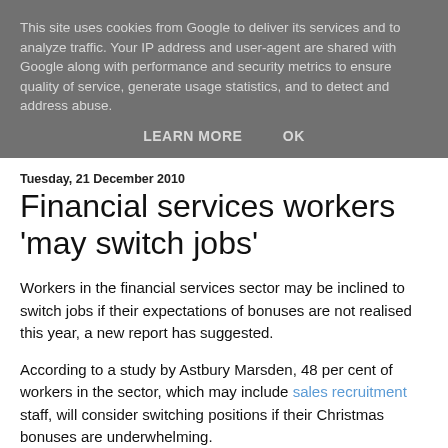This site uses cookies from Google to deliver its services and to analyze traffic. Your IP address and user-agent are shared with Google along with performance and security metrics to ensure quality of service, generate usage statistics, and to detect and address abuse.
LEARN MORE   OK
Tuesday, 21 December 2010
Financial services workers 'may switch jobs'
Workers in the financial services sector may be inclined to switch jobs if their expectations of bonuses are not realised this year, a new report has suggested.
According to a study by Astbury Marsden, 48 per cent of workers in the sector, which may include sales recruitment staff, will consider switching positions if their Christmas bonuses are underwhelming.